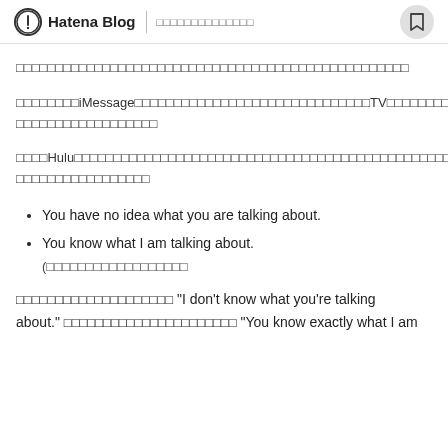Hatena Blog | □□□□□□□□□□□□□□
□□□□□□□□□□□□□□□□□□□□□□□□□□□□□□□□□□□□□□□□□□□□□□□□□□
□□□□□□□□iMessage□□□□□□□□□□□□□□□□□□□□□□□□□□□□□□TV□□□□□□□□□□□□□□□□□□□□□□□□□□
□□□□Hulu□□□□□□□□□□□□□□□□□□□□□□□□□□□□□□□□□□□□□□□□□□□□□□□□□□□□□□□□□□□□□□□□□□□
You have no idea what you are talking about.
You know what I am talking about.
(□□□□□□□□□□□□□□□□□□
□□□□□□□□□□□□□□□□□□□□ "I don't know what you're talking about." □□□□□□□□□□□□□□□□□□□□□□ "You know exactly what I am